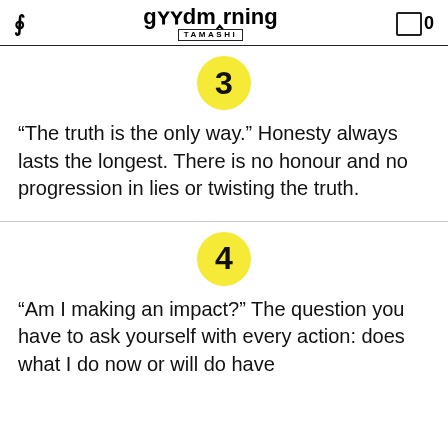goodmorning TAMASHI
[Figure (illustration): Yellow circle with number 3]
“The truth is the only way.” Honesty always lasts the longest. There is no honour and no progression in lies or twisting the truth.
[Figure (illustration): Yellow circle with number 4]
“Am I making an impact?” The question you have to ask yourself with every action: does what I do now or will do have